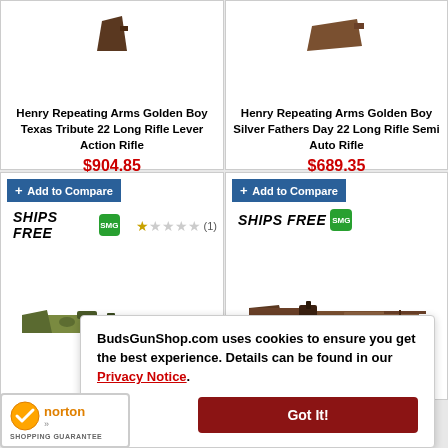Henry Repeating Arms Golden Boy Texas Tribute 22 Long Rifle Lever Action Rifle
$904.85
Henry Repeating Arms Golden Boy Silver Fathers Day 22 Long Rifle Semi Auto Rifle
$689.35
+ Add to Compare
SHIPS FREE SMG
★ (1)
[Figure (photo): Camouflage pattern lever action rifle]
+ Add to Compare
SHIPS FREE SMG
[Figure (photo): Brown wood stock single shot rifle]
BudsGunShop.com uses cookies to ensure you get the best experience. Details can be found in our Privacy Notice.
Got It!
[Figure (logo): Norton Shopping Guarantee badge with checkmark]